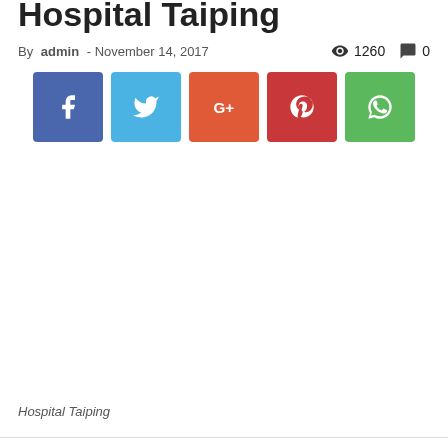Hospital Taiping
By admin - November 14, 2017   1260   0
[Figure (infographic): Social media share buttons: Facebook (blue), Twitter (light blue), Google+ (orange-red), Pinterest (red), WhatsApp (green)]
Hospital Taiping